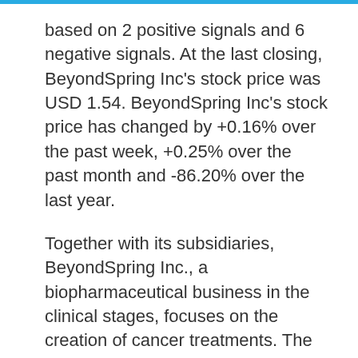based on 2 positive signals and 6 negative signals. At the last closing, BeyondSpring Inc's stock price was USD 1.54. BeyondSpring Inc's stock price has changed by +0.16% over the past week, +0.25% over the past month and -86.20% over the last year.
Together with its subsidiaries, BeyondSpring Inc., a biopharmaceutical business in the clinical stages, focuses on the creation of cancer treatments. The Plinabulin, a selective immune-modulating microtubule-binding agent, is the company's main asset. It has successfully completed Phase III clinical studies for the treatment of advanced non-small cell lung cancer as well as the prevention of chemotherapy-